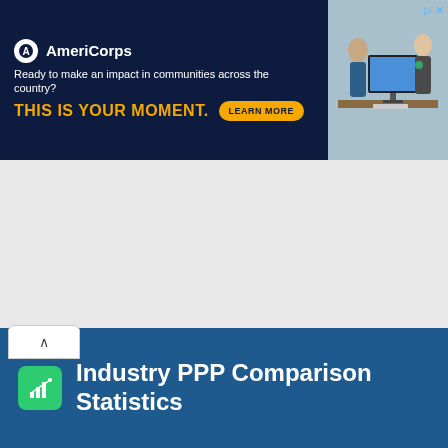[Figure (other): AmeriCorps advertisement banner. Logo with circular A icon and 'AmeriCorps' brand name. Tagline: 'Ready to make an impact in communities across the country?' Headline: 'THIS IS YOUR MOMENT.' with a 'LEARN MORE' button. Photo of people at a computer on the right side.]
[Figure (other): White empty content area with collapse/accordion tab showing an upward caret arrow at the top-left.]
Industry PPP Comparison Statistics